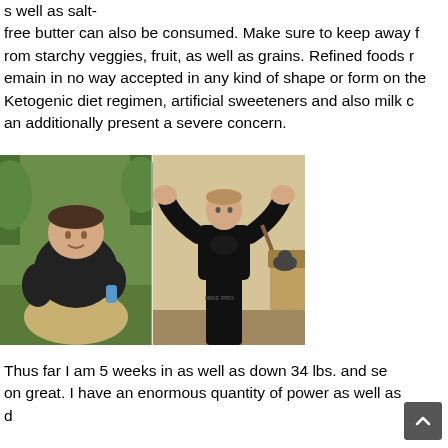s well as salt-free butter can also be consumed. Make sure to keep away from starchy veggies, fruit, as well as grains. Refined foods remain in no way accepted in any kind of shape or form on the Ketogenic diet regimen, artificial sweeteners and also milk can additionally present a severe concern.
[Figure (photo): Before and after weight loss photos: left shows a heavy-set man sitting outdoors in a black t-shirt on grass; right shows a fit man in a black Nike Pro shirt flexing his arms indoors.]
Thus far I am 5 weeks in as well as down 34 lbs. and seeing great. I have an enormous quantity of power as well as d